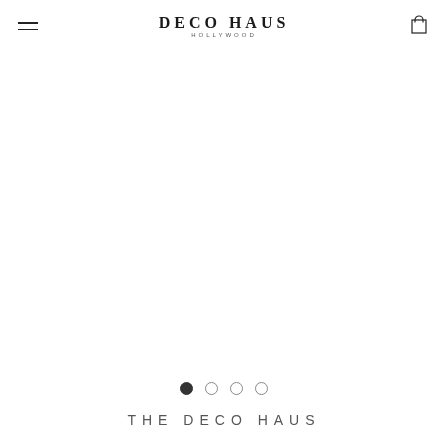DECO HAUS HOLLYWOOD
[Figure (other): Large blank white image area — main hero/slideshow area with no visible image content]
[Figure (other): Slideshow navigation dots: 4 circles, first filled (active), remaining 3 empty]
THE DECO HAUS